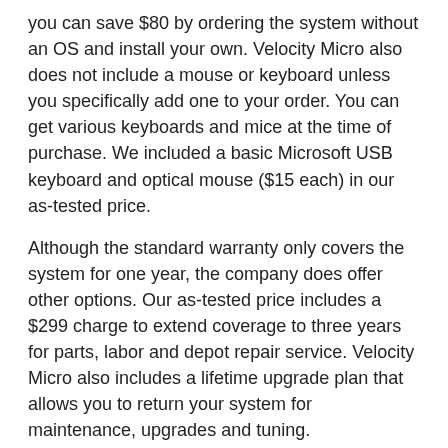you can save $80 by ordering the system without an OS and install your own. Velocity Micro also does not include a mouse or keyboard unless you specifically add one to your order. You can get various keyboards and mice at the time of purchase. We included a basic Microsoft USB keyboard and optical mouse ($15 each) in our as-tested price.
Although the standard warranty only covers the system for one year, the company does offer other options. Our as-tested price includes a $299 charge to extend coverage to three years for parts, labor and depot repair service. Velocity Micro also includes a lifetime upgrade plan that allows you to return your system for maintenance, upgrades and tuning.
As configured (including the input devices, Windows 10 Pro, NVIDIA Quadro RTX 6000 GPU, and the three-year warranty), our system priced out at $6,328, making it a bit less expensive than several other systems we have tested recently, while delivering better performance.